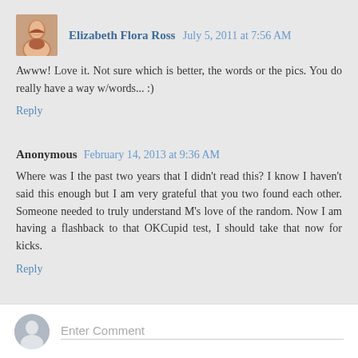[Figure (photo): Avatar photo of Elizabeth Flora Ross, a woman smiling]
Elizabeth Flora Ross  July 5, 2011 at 7:56 AM
Awww! Love it. Not sure which is better, the words or the pics. You do really have a way w/words... :)
Reply
Anonymous  February 14, 2013 at 9:36 AM
Where was I the past two years that I didn't read this? I know I haven't said this enough but I am very grateful that you two found each other. Someone needed to truly understand M's love of the random. Now I am having a flashback to that OKCupid test, I should take that now for kicks.
Reply
Enter Comment